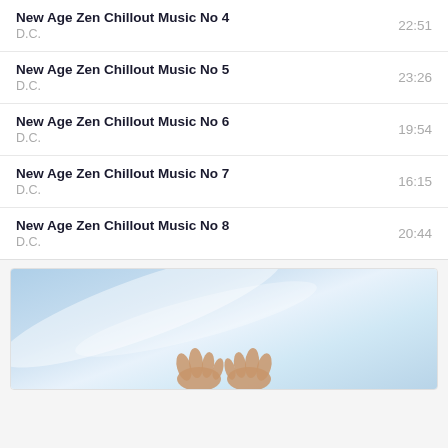New Age Zen Chillout Music No 4 | D.C. | 22:51
New Age Zen Chillout Music No 5 | D.C. | 23:26
New Age Zen Chillout Music No 6 | D.C. | 19:54
New Age Zen Chillout Music No 7 | D.C. | 16:15
New Age Zen Chillout Music No 8 | D.C. | 20:44
[Figure (photo): Blue sky background with soft white cloud streaks and hands raised upward, a calm zen aesthetic image.]